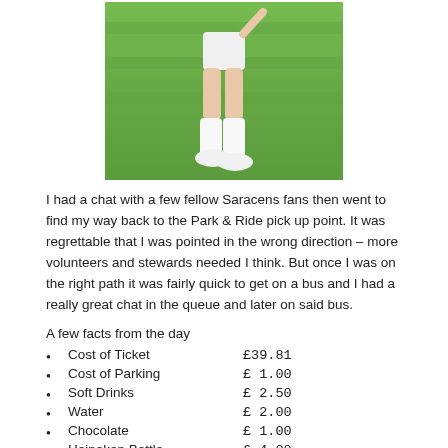[Figure (photo): A rugby player in white kit (shorts, socks, cleats) walking on a green grass field, photo cropped to show legs and lower body only.]
I had a chat with a few fellow Saracens fans then went to find my way back to the Park & Ride pick up point.  It was regrettable that I was pointed in the wrong direction – more volunteers and stewards needed I think.  But once I was on the right path it was fairly quick to get on a bus and I had a really great chat in the queue and later on said bus.
A few facts from the day
Cost of Ticket    £39.81
Cost of Parking    £ 1.00
Soft Drinks    £  2.50
Water    £  2.00
Chocolate    £  1.00
Heineken Bottle    £  4.00